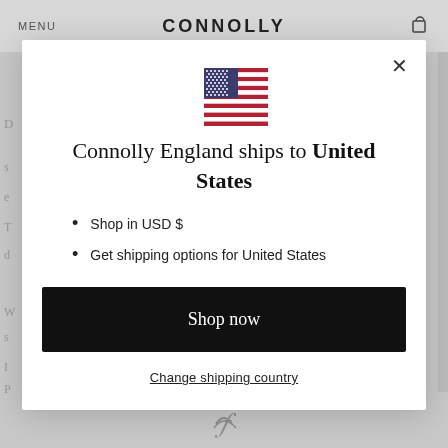MENU   CONNOLLY
[Figure (screenshot): US flag SVG illustration]
Connolly England ships to United States
Shop in USD $
Get shipping options for United States
Shop now
Change shipping country